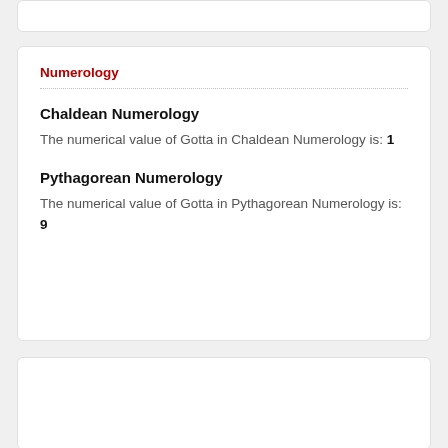Numerology
Chaldean Numerology
The numerical value of Gotta in Chaldean Numerology is: 1
Pythagorean Numerology
The numerical value of Gotta in Pythagorean Numerology is: 9